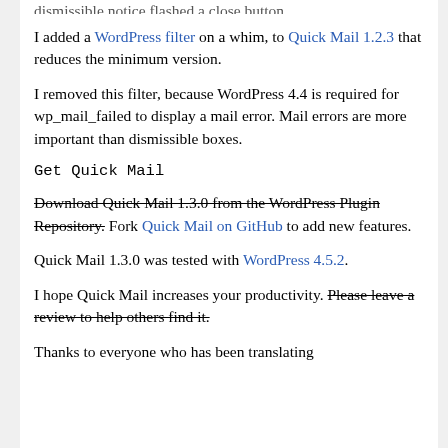[truncated top text]
I added a WordPress filter on a whim, to Quick Mail 1.2.3 that reduces the minimum version.
I removed this filter, because WordPress 4.4 is required for wp_mail_failed to display a mail error. Mail errors are more important than dismissible boxes.
Get Quick Mail
Download Quick Mail 1.3.0 from the WordPress Plugin Repository. Fork Quick Mail on GitHub to add new features.
Quick Mail 1.3.0 was tested with WordPress 4.5.2.
I hope Quick Mail increases your productivity. Please leave a review to help others find it.
Thanks to everyone who has been translating